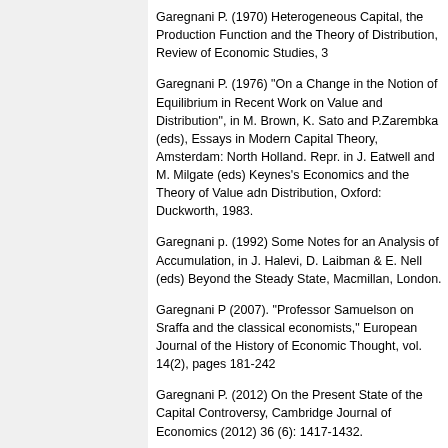Garegnani P. (1970) Heterogeneous Capital, the Production Function and the Theory of Distribution, Review of Economic Studies, 3
Garegnani P. (1976) "On a Change in the Notion of Equilibrium in Recent Work on Value and Distribution", in M. Brown, K. Sato and P.Zarembka (eds), Essays in Modern Capital Theory, Amsterdam: North Holland. Repr. in J. Eatwell and M. Milgate (eds) Keynes's Economics and the Theory of Value adn Distribution, Oxford: Duckworth, 1983.
Garegnani p. (1992) Some Notes for an Analysis of Accumulation, in J. Halevi, D. Laibman & E. Nell (eds) Beyond the Steady State, Macmillan, London.
Garegnani P (2007). "Professor Samuelson on Sraffa and the classical economists," European Journal of the History of Economic Thought, vol. 14(2), pages 181-242
Garegnani P. (2012) On the Present State of the Capital Controversy, Cambridge Journal of Economics (2012) 36 (6): 1417-1432.
Hall (1988) The Relation between Price and Marginal Cost in U.S., Journal of Political Economy, Vol. 96, No. 5 (Oct.), pp. 921-947
Ham J.C. e Reilly K.T. (2002) Testing Intertemporal Substitution,